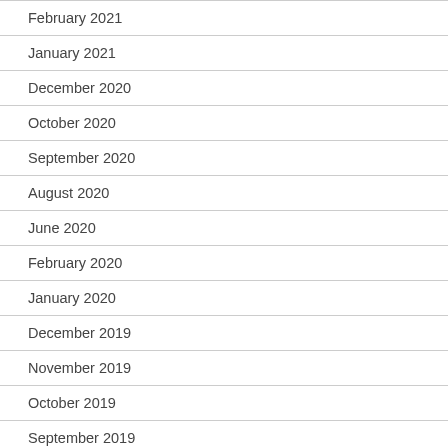February 2021
January 2021
December 2020
October 2020
September 2020
August 2020
June 2020
February 2020
January 2020
December 2019
November 2019
October 2019
September 2019